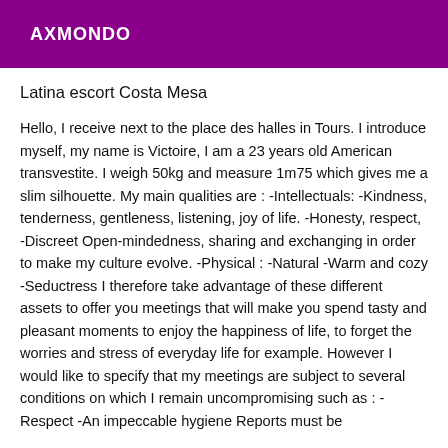AXMONDO
Latina escort Costa Mesa
Hello, I receive next to the place des halles in Tours. I introduce myself, my name is Victoire, I am a 23 years old American transvestite. I weigh 50kg and measure 1m75 which gives me a slim silhouette. My main qualities are : -Intellectuals: -Kindness, tenderness, gentleness, listening, joy of life. -Honesty, respect, -Discreet Open-mindedness, sharing and exchanging in order to make my culture evolve. -Physical : -Natural -Warm and cozy -Seductress I therefore take advantage of these different assets to offer you meetings that will make you spend tasty and pleasant moments to enjoy the happiness of life, to forget the worries and stress of everyday life for example. However I would like to specify that my meetings are subject to several conditions on which I remain uncompromising such as : -Respect -An impeccable hygiene Reports must be